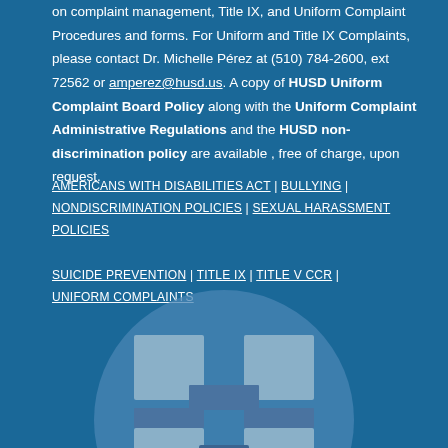on complaint management, Title IX, and Uniform Complaint Procedures and forms. For Uniform and Title IX Complaints, please contact Dr. Michelle Pérez at (510) 784-2600, ext 72562 or amperez@husd.us. A copy of HUSD Uniform Complaint Board Policy along with the Uniform Complaint Administrative Regulations and the HUSD non-discrimination policy are available , free of charge, upon request.
AMERICANS WITH DISABILITIES ACT | BULLYING | NONDISCRIMINATION POLICIES | SEXUAL HARASSMENT POLICIES

SUICIDE PREVENTION | TITLE IX | TITLE V CCR | UNIFORM COMPLAINTS
[Figure (logo): HUSD logo - circular emblem with stylized H letter made of rectangular blocks in lighter blue tones on a medium blue circular background]